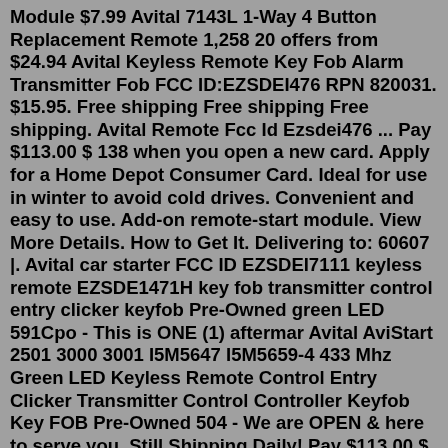Module $7.99 Avital 7143L 1-Way 4 Button Replacement Remote 1,258 20 offers from $24.94 Avital Keyless Remote Key Fob Alarm Transmitter Fob FCC ID:EZSDEI476 RPN 820031. $15.95. Free shipping Free shipping Free shipping. Avital Remote Fcc Id Ezsdei476 ... Pay $113.00 $ 138 when you open a new card. Apply for a Home Depot Consumer Card. Ideal for use in winter to avoid cold drives. Convenient and easy to use. Add-on remote-start module. View More Details. How to Get It. Delivering to: 60607 |. Avital car starter FCC ID EZSDEI7111 keyless remote EZSDE1471H key fob transmitter control entry clicker keyfob Pre-Owned green LED 591Cpo - This is ONE (1) aftermar Avital AviStart 2501 3000 3001 I5M5647 I5M5659-4 433 Mhz Green LED Keyless Remote Control Entry Clicker Transmitter Control Controller Keyfob Key FOB Pre-Owned 504 - We are OPEN & here to serve you. Still Shipping Daily! Pay $113.00 $ 138 when you open a new card. Apply for a Home Depot Consumer Card. Ideal for use in winter to avoid cold drives.